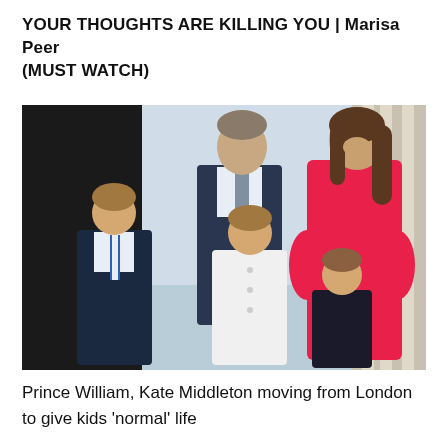YOUR THOUGHTS ARE KILLING YOU | Marisa Peer (MUST WATCH)
[Figure (photo): Photo of Prince William, Kate Middleton, and their three children (Prince George, Princess Charlotte, Prince Louis) standing on what appears to be a palace balcony. William is in a suit, Kate in a bright red/pink dress, George in a navy suit with striped tie, Charlotte in a white coat, and Louis in dark clothing.]
Prince William, Kate Middleton moving from London to give kids 'normal' life